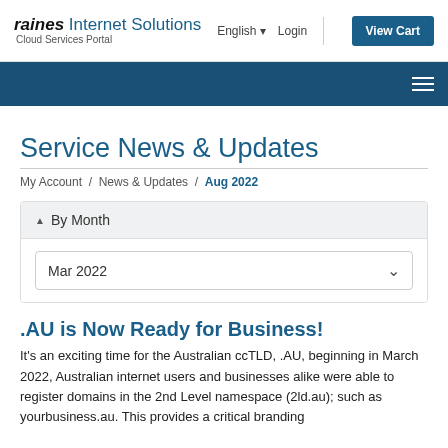raines Internet Solutions  Cloud Services Portal  English  Login  View Cart
Service News & Updates
My Account / News & Updates / Aug 2022
By Month
Mar 2022
.AU is Now Ready for Business!
It's an exciting time for the Australian ccTLD, .AU, beginning in March 2022, Australian internet users and businesses alike were able to register domains in the 2nd Level namespace (2ld.au); such as yourbusiness.au. This provides a critical branding…